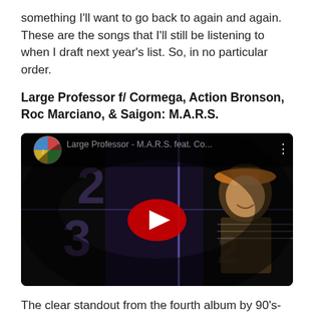something I'll want to go back to again and again. These are the songs that I'll still be listening to when I draft next year's list. So, in no particular order.
Large Professor f/ Cormega, Action Bronson, Roc Marciano, & Saigon: M.A.R.S.
[Figure (screenshot): YouTube video embed showing Large Professor - M.A.R.S. feat. Co... with a play button overlay on a dark music video thumbnail featuring a person wearing a cap.]
The clear standout from the fourth album by 90's-era